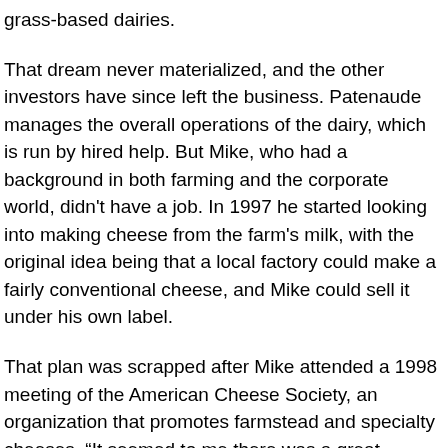grass-based dairies.
That dream never materialized, and the other investors have since left the business. Patenaude manages the overall operations of the dairy, which is run by hired help. But Mike, who had a background in both farming and the corporate world, didn't have a job. In 1997 he started looking into making cheese from the farm's milk, with the original idea being that a local factory could make a fairly conventional cheese, and Mike could sell it under his own label.
That plan was scrapped after Mike attended a 1998 meeting of the American Cheese Society, an organization that promotes farmstead and specialty cheeses. “It seemed to me there was a great opportunity to make a unique cheese, and make it ourselves,” he explains.
He poured over a list of more than 300 cheeses in Cheese Primer,